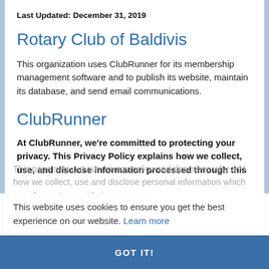Last Updated: December 31, 2019
Rotary Club of Baldivis
This organization uses ClubRunner for its membership management software and to publish its website, maintain its database, and send email communications.
ClubRunner
At ClubRunner, we're committed to protecting your privacy. This Privacy Policy explains how we collect, use, and disclose information processed through this
This website uses cookies to ensure you get the best experience on our website. Learn more
This page sets out our privacy policy and describes why and how we collect, use and disclose personal information which you choose to provide to us on our
GOT IT!